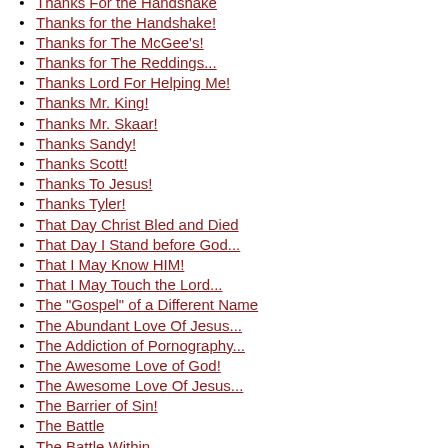Thanks For the Handshake
Thanks for the Handshake!
Thanks for The McGee's!
Thanks for The Reddings...
Thanks Lord For Helping Me!
Thanks Mr. King!
Thanks Mr. Skaar!
Thanks Sandy!
Thanks Scott!
Thanks To Jesus!
Thanks Tyler!
That Day Christ Bled and Died
That Day I Stand before God...
That I May Know HIM!
That I May Touch the Lord...
The "Gospel" of a Different Name
The Abundant Love Of Jesus...
The Addiction of Pornography...
The Awesome Love of God!
The Awesome Love Of Jesus...
The Barrier of Sin!
The Battle
The Battle Within
The Beautiful Name of Jesus!
The Beauty of God's Love!
The Beauty of Jesus or the Garbage
The Beauty of Jesus!
The Beauty of Jesus!
The Beauty of the God I Know!
The Beginning Of Wisdom